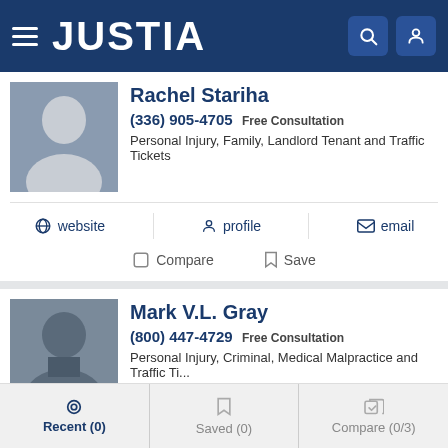JUSTIA
Rachel Stariha
(336) 905-4705 Free Consultation
Personal Injury, Family, Landlord Tenant and Traffic Tickets
website  profile  email
Compare  Save
Mark V.L. Gray
(800) 447-4729 Free Consultation
Personal Injury, Criminal, Medical Malpractice and Traffic Ti...
profile  email
Compare  Save
Recent (0)  Saved (0)  Compare (0/3)